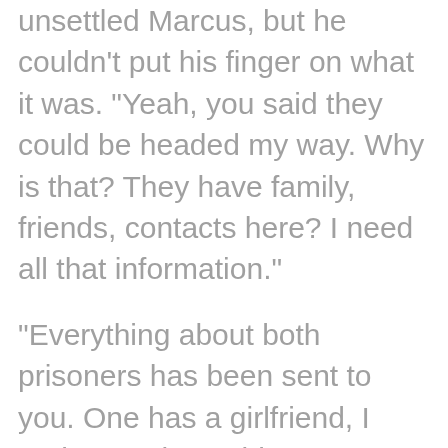unsettled Marcus, but he couldn't put his finger on what it was. "Yeah, you said they could be headed my way. Why is that? They have family, friends, contacts here? I need all that information."
"Everything about both prisoners has been sent to you. One has a girlfriend, I understand, outside Livingston, and a brother up toward Billings. If that's all, Sheriff, I've got a fucking mess to handle here. You have any questions, get in touch with Sheriff Lester up in Park County. He's got more on them, and he's been on this since word went out. And, Sheriff O'Connell? A word of advice. I understand you may want to give these men a second chance, but sometimes we're all better off if a criminal is six feet under. You understand?"